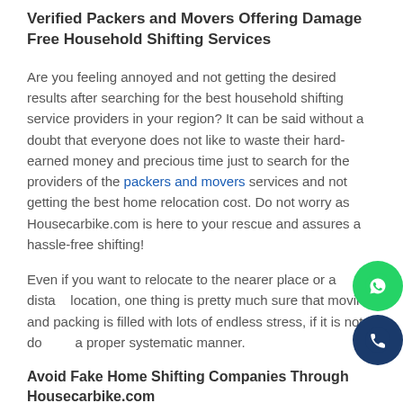Verified Packers and Movers Offering Damage Free Household Shifting Services
Are you feeling annoyed and not getting the desired results after searching for the best household shifting service providers in your region? It can be said without a doubt that everyone does not like to waste their hard-earned money and precious time just to search for the providers of the packers and movers services and not getting the best home relocation cost. Do not worry as Housecarbike.com is here to your rescue and assures a hassle-free shifting!
Even if you want to relocate to the nearer place or a distant location, one thing is pretty much sure that moving and packing is filled with lots of endless stress, if it is not done in a proper systematic manner.
Avoid Fake Home Shifting Companies Through Housecarbike.com
[Figure (illustration): WhatsApp floating button (green circle with WhatsApp icon) and phone call floating button (dark blue circle with phone icon) overlaid on the right side of the page]